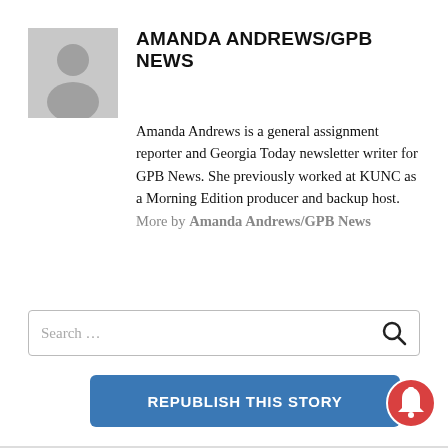[Figure (photo): Gray silhouette avatar placeholder image for author]
AMANDA ANDREWS/GPB NEWS
Amanda Andrews is a general assignment reporter and Georgia Today newsletter writer for GPB News. She previously worked at KUNC as a Morning Edition producer and backup host. More by Amanda Andrews/GPB News
Search ...
REPUBLISH THIS STORY